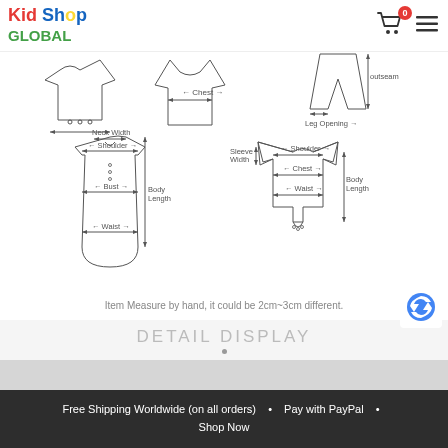[Figure (logo): Kid Shop Global logo with colorful text]
[Figure (illustration): Clothing measurement diagrams showing shoulder, neck width, bust, waist, body length, chest, sleeve width, leg opening, outseam measurements on garment outlines]
Item Measure by hand, it could be 2cm~3cm different.
DETAIL DISPLAY
[Figure (photo): Back of a child's head with brown hair against a light background]
Free Shipping Worldwide (on all orders)  •  Pay with PayPal  •  Shop Now